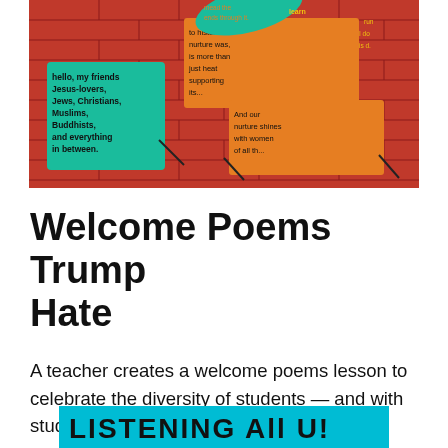[Figure (illustration): A colorful collage image showing sticky notes with text on a red brick wall background, with speech bubbles containing messages like 'hello, my friends, Jesus-lovers, Jews, Christians, Muslims, Buddhists, and everything in between' and other inclusive welcome messages. Teal and orange colors dominate.]
Welcome Poems Trump Hate
A teacher creates a welcome poems lesson to celebrate the diversity of students — and with students.
[Figure (photo): Partial bottom image showing colorful handwritten text, appears to be student artwork or a sign, in teal/cyan color with dark lettering.]